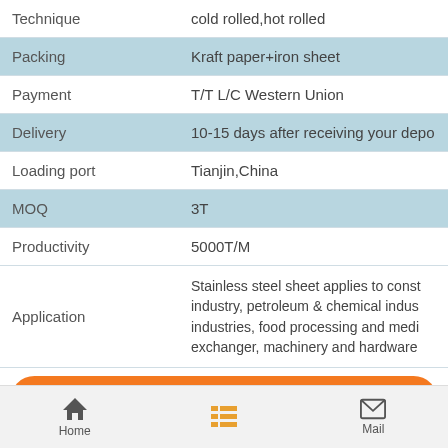| Field | Value |
| --- | --- |
| Technique | cold rolled,hot rolled |
| Packing | Kraft paper+iron sheet |
| Payment | T/T L/C Western Union |
| Delivery | 10-15 days after receiving your depo |
| Loading port | Tianjin,China |
| MOQ | 3T |
| Productivity | 5000T/M |
| Application | Stainless steel sheet applies to construction industry, petroleum & chemical industries, food processing and medical exchanger, machinery and hardware |
Contact Now
Home  Mail